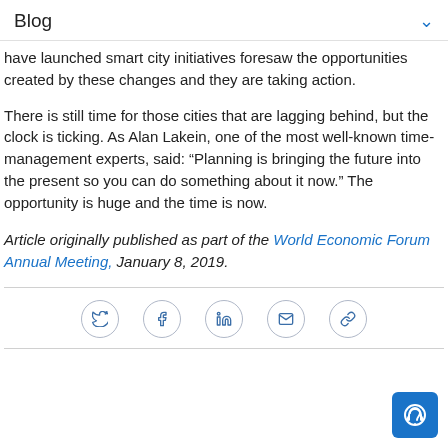Blog
have launched smart city initiatives foresaw the opportunities created by these changes and they are taking action.
There is still time for those cities that are lagging behind, but the clock is ticking. As Alan Lakein, one of the most well-known time-management experts, said: “Planning is bringing the future into the present so you can do something about it now.” The opportunity is huge and the time is now.
Article originally published as part of the World Economic Forum Annual Meeting, January 8, 2019.
[Figure (other): Social share icons: Twitter, Facebook, LinkedIn, Email, Link]